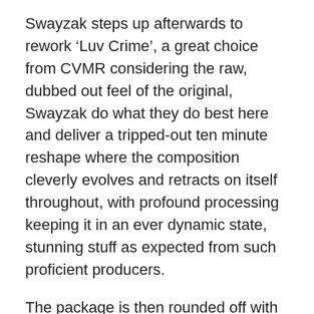Swayzak steps up afterwards to rework ‘Luv Crime’, a great choice from CVMR considering the raw, dubbed out feel of the original, Swayzak do what they do best here and deliver a tripped-out ten minute reshape where the composition cleverly evolves and retracts on itself throughout, with profound processing keeping it in an ever dynamic state, stunning stuff as expected from such proficient producers.
The package is then rounded off with another original from Century, entitled ‘Closer’, this time delving a little deeper with the sound palette, the pair fuse cosseting pads and stuttering arpeggio bass with crunchy drum samples and heavily delayed and reverberated vocal licks to create a psychedelic, dropped-tempo number, closing the EP in style.